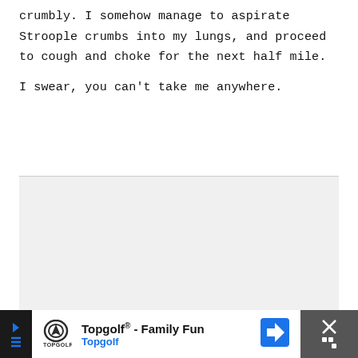crumbly. I somehow manage to aspirate Stroople crumbs into my lungs, and proceed to cough and choke for the next half mile.
I swear, you can't take me anywhere.
[Figure (other): Gray background section / advertisement placeholder area]
Topgolf® - Family Fun Topgolf [advertisement banner]